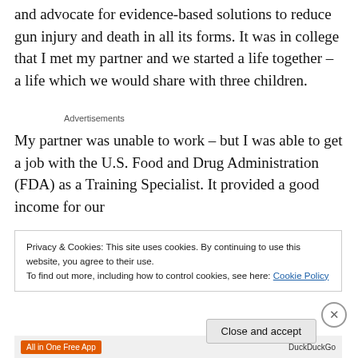and advocate for evidence-based solutions to reduce gun injury and death in all its forms. It was in college that I met my partner and we started a life together – a life which we would share with three children.
Advertisements
My partner was unable to work – but I was able to get a job with the U.S. Food and Drug Administration (FDA) as a Training Specialist. It provided a good income for our
Privacy & Cookies: This site uses cookies. By continuing to use this website, you agree to their use.
To find out more, including how to control cookies, see here: Cookie Policy
Close and accept